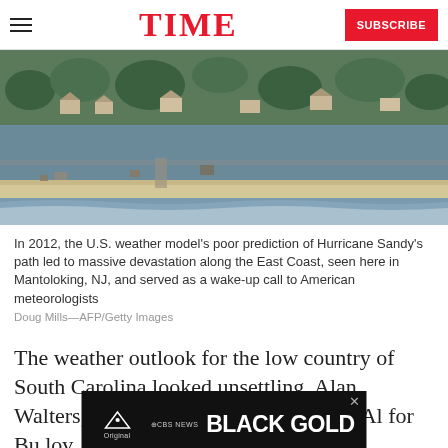TIME — SUBSCRIBE
[Figure (photo): Aerial photograph of Hurricane Sandy damage along the East Coast shoreline in Mantoloking, NJ, showing flooded barrier island with destroyed homes and debris.]
In 2012, the U.S. weather model's poor prediction of Hurricane Sandy's path led to massive devastation along the East Coast, seen here in Mantoloking, NJ, and served as a wake-up call to American meteorologists
Doug Mills—AFP/Getty Images
The weather outlook for the low country of South Carolina looked unsettling. Alan Walters, charged with protecting more...
[Figure (screenshot): Advertisement overlay for CBS News Paramount Original show 'Black Gold']